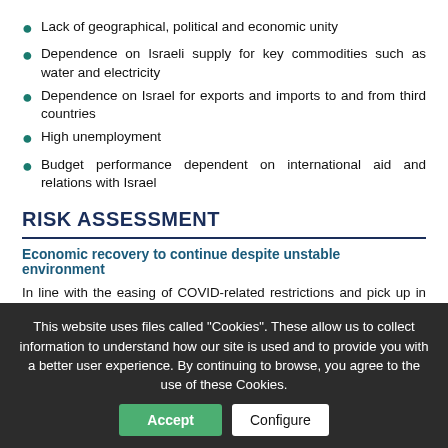Lack of geographical, political and economic unity
Dependence on Israeli supply for key commodities such as water and electricity
Dependence on Israel for exports and imports to and from third countries
High unemployment
Budget performance dependent on international aid and relations with Israel
RISK ASSESSMENT
Economic recovery to continue despite unstable environment
In line with the easing of COVID-related restrictions and pick up in the vaccination campaign (27% of total population fully vaccinated as of December 2021), the business environment will gradually return to normal and growth will pick up more in 2022. This will benefit the economy, which consists mostly in services, retail, and construction. This should also help creating new jobs that will support domestic
This website uses files called "Cookies". These allow us to collect information to understand how our site is used and to provide you with a better user experience. By continuing to browse, you agree to the use of these Cookies.